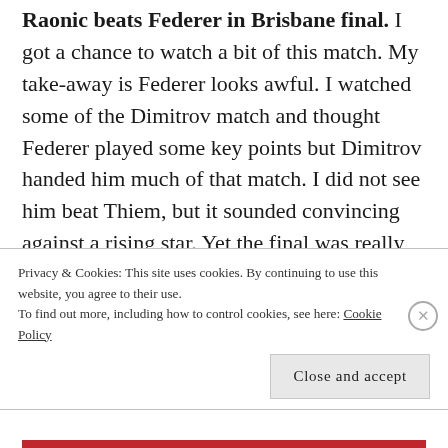Raonic beats Federer in Brisbane final. I got a chance to watch a bit of this match. My take-away is Federer looks awful. I watched some of the Dimitrov match and thought Federer played some key points but Dimitrov handed him much of that match. I did not see him beat Thiem, but it sounded convincing against a rising star. Yet the final was really not very impressive from Federer or Raonic. Both first served in the 50s (%). Raonic just overwhelmed Federer in much of
Privacy & Cookies: This site uses cookies. By continuing to use this website, you agree to their use.
To find out more, including how to control cookies, see here: Cookie Policy
Close and accept